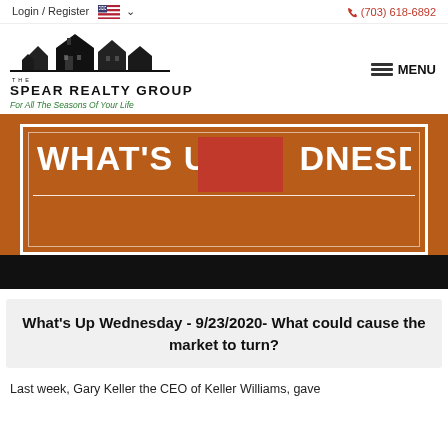Login / Register   (703) 618-6892
[Figure (logo): The Spear Realty Group logo with house illustration and tagline 'For All The Seasons Of Your Life']
[Figure (photo): What's Up Wednesday banner in brown/orange background with white bold text partially obscured by a red shape, with black bar at bottom]
What's Up Wednesday - 9/23/2020- What could cause the market to turn?
Last week, Gary Keller the CEO of Keller Williams, gave